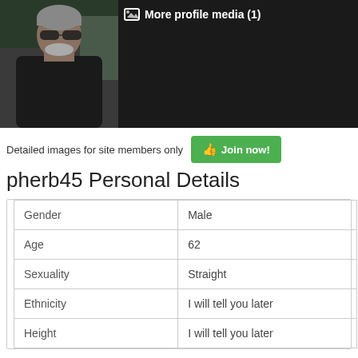[Figure (photo): Profile photo banner with thumbnail of middle-aged man wearing sunglasses in a car, dark background, with 'More profile media (1)' label overlay]
Detailed images for site members only   🖒 Join now!
pherb45 Personal Details
| Gender | Male |
| Age | 62 |
| Sexuality | Straight |
| Ethnicity | I will tell you later |
| Height | I will tell you later |